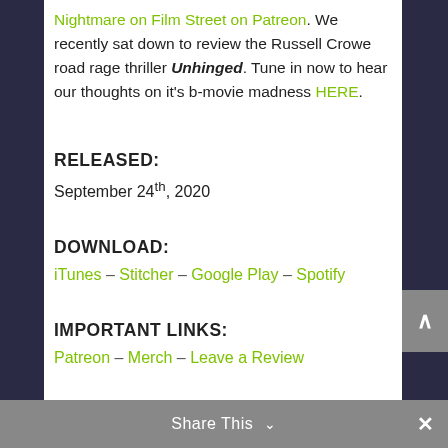Nightmare on Film Street on Patreon. We recently sat down to review the Russell Crowe road rage thriller Unhinged. Tune in now to hear our thoughts on it's b-movie madness HERE.
RELEASED:
September 24th, 2020
DOWNLOAD:
iTunes – Stitcher – Google Play – Spotify
IMPORTANT LINKS:
Patreon – Merch – Leave a Review
Share This ∨  ×